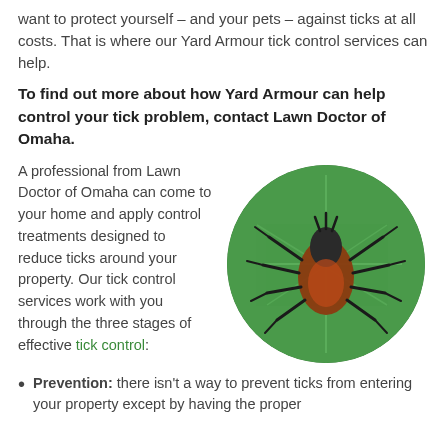want to protect yourself – and your pets – against ticks at all costs. That is where our Yard Armour tick control services can help.
To find out more about how Yard Armour can help control your tick problem, contact Lawn Doctor of Omaha.
A professional from Lawn Doctor of Omaha can come to your home and apply control treatments designed to reduce ticks around your property. Our tick control services work with you through the three stages of effective tick control:
[Figure (photo): Close-up circular photo of a tick (brown and black) sitting on a green leaf]
Prevention: there isn't a way to prevent ticks from entering your property except by having the proper